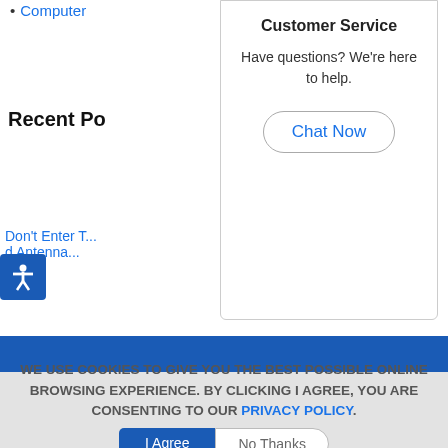Computer (partially visible)
Recent Po
Don't Enter T... d Antenna...
Customer Service
Have questions? We're here to help.
Chat Now
WE USE COOKIES TO GIVE YOU THE BEST POSSIBLE ONLINE BROWSING EXPERIENCE. BY CLICKING I AGREE, YOU ARE CONSENTING TO OUR PRIVACY POLICY.
I Agree
No Thanks